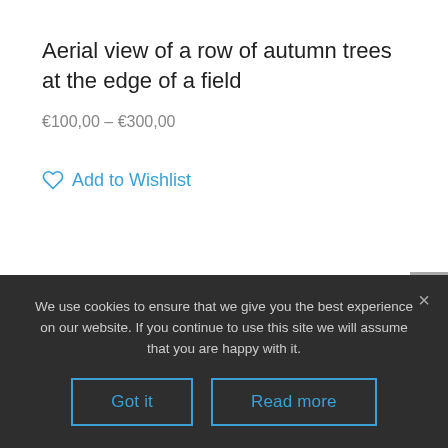Aerial view of a row of autumn trees at the edge of a field
€100,00 – €300,00
Add to Wishlist
We use cookies to ensure that we give you the best experience on our website. If you continue to use this site we will assume that you are happy with it.
Got it
Read more